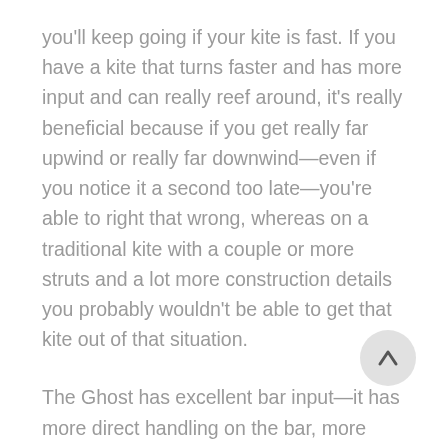you'll keep going if your kite is fast. If you have a kite that turns faster and has more input and can really reef around, it's really beneficial because if you get really far upwind or really far downwind—even if you notice it a second too late—you're able to right that wrong, whereas on a traditional kite with a couple or more struts and a lot more construction details you probably wouldn't be able to get that kite out of that situation.
The Ghost has excellent bar input—it has more direct handling on the bar, more feel. That's something that we really talk about a lot here at Slingshot, because there's other types of kites out there and when you fly them, you might not necessarily know exactly where